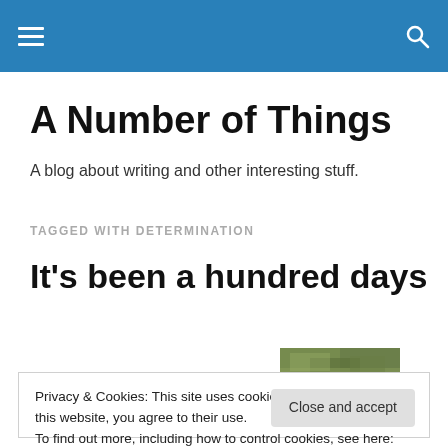Navigation bar with hamburger menu and search icon
A Number of Things
A blog about writing and other interesting stuff.
TAGGED WITH DETERMINATION
It's been a hundred days
[Figure (photo): Partial view of a green outdoor/nature thumbnail image]
Privacy & Cookies: This site uses cookies. By continuing to use this website, you agree to their use.
To find out more, including how to control cookies, see here: Cookie Policy
Close and accept